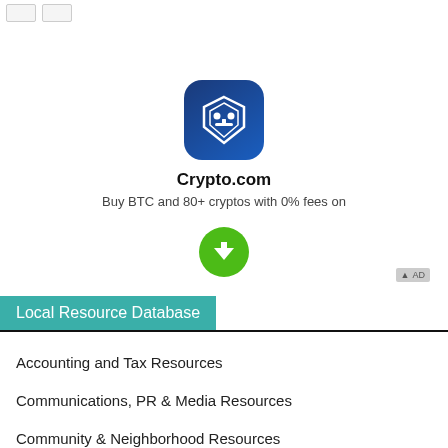[Figure (screenshot): Crypto.com app icon: rounded square with dark blue gradient background and white hexagonal shield with robot/mask symbol inside]
Crypto.com
Buy BTC and 80+ cryptos with 0% fees on
[Figure (illustration): Green circular download button with white downward arrow icon]
Local Resource Database
Accounting and Tax Resources
Communications, PR & Media Resources
Community & Neighborhood Resources